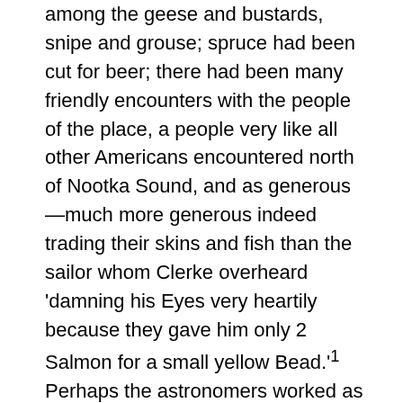among the geese and bustards, snipe and grouse; spruce had been cut for beer; there had been many friendly encounters with the people of the place, a people very like all other Americans encountered north of Nootka Sound, and as generous—much more generous indeed trading their skins and fish than the sailor whom Clerke overheard 'damning his Eyes very heartily because they gave him only 2 Salmon for a small yellow Bead.'¹ Perhaps the astronomers worked as hard as anybody, with their seventy-seven sets of lunar observations to determine the longitude, 197°13' East. The latitude was still as far north as 64°31'.
Meanwhile, Cook had been giving some thought to his next movements, and the